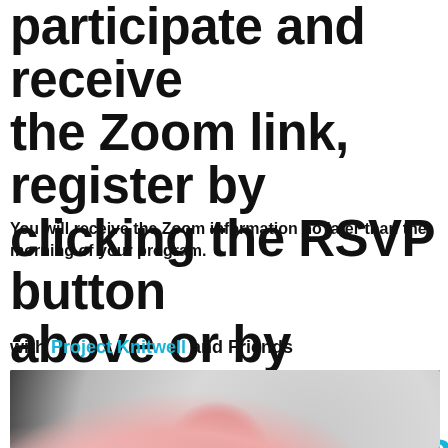participate and receive the Zoom link, register by clicking the RSVP button above or by emailing programs@smithcenter.org
You will receive the Zoom information no later than the morning of your program.
with Project Knitwell and Friends
[Figure (photo): Photo of knitting materials: a pink blanket with pompom balls on the left, gray ribbed fabric and dark cushion on the right, with a basket of yarn and knitting needles in the lower right]